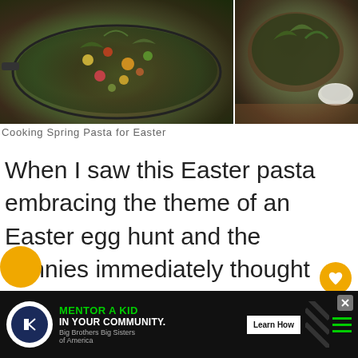[Figure (photo): Two food photos side by side: left shows a pan with colorful Easter pasta with vegetables and herbs; right shows a bowl with greens and ingredients on a wooden surface]
Cooking Spring Pasta for Easter
When I saw this Easter pasta embracing the theme of an Easter egg hunt and the bunnies immediately thought would be a great idea to add as one of my options for my Easter menu. Adding a fun dish that the adults will bring a smile and the kids appreciate is part of the success. I wond...
[Figure (other): Advertisement banner: Big Brothers Big Sisters logo, text 'MENTOR A KID IN YOUR COMMUNITY.' with green text, Learn How button]